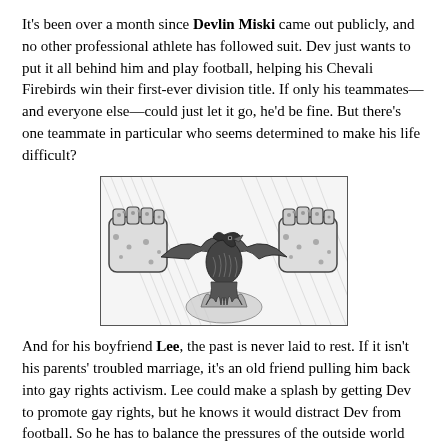It's been over a month since Devlin Miski came out publicly, and no other professional athlete has followed suit. Dev just wants to put it all behind him and play football, helping his Chevali Firebirds win their first-ever division title. If only his teammates—and everyone else—could just let it go, he'd be fine. But there's one teammate in particular who seems determined to make his life difficult?
[Figure (illustration): Black and white ink illustration showing two fists gripping open a shirt to reveal a firebird (phoenix-like eagle) emerging from flames in the center.]
And for his boyfriend Lee, the past is never laid to rest. If it isn't his parents' troubled marriage, it's an old friend pulling him back into gay rights activism. Lee could make a splash by getting Dev to promote gay rights, but he knows it would distract Dev from football. So he has to balance the pressures of the outside world against the needs of his relationship, and